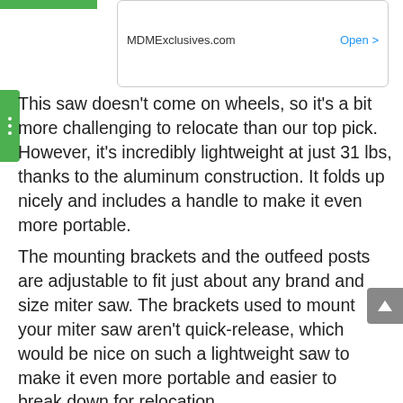[Figure (screenshot): Ad widget showing MDMExclusives.com with an Open > link button]
This saw doesn't come on wheels, so it's a bit more challenging to relocate than our top pick. However, it's incredibly lightweight at just 31 lbs, thanks to the aluminum construction. It folds up nicely and includes a handle to make it even more portable.
The mounting brackets and the outfeed posts are adjustable to fit just about any brand and size miter saw. The brackets used to mount your miter saw aren't quick-release, which would be nice on such a lightweight saw to make it even more portable and easier to break down for relocation.